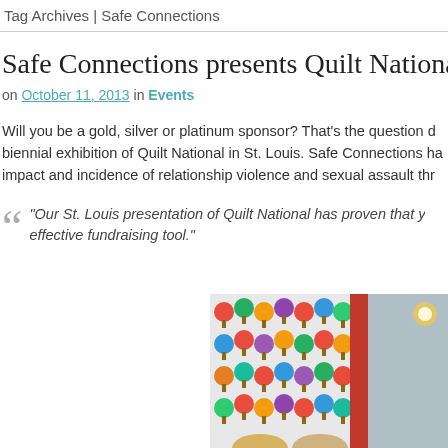Tag Archives | Safe Connections
Safe Connections presents Quilt National 20
on October 11, 2013 in Events
Will you be a gold, silver or platinum sponsor? That's the question d biennial exhibition of Quilt National in St. Louis. Safe Connections ha impact and incidence of relationship violence and sexual assault thr
“Our St. Louis presentation of Quilt National has proven that y effective fundraising tool.”
[Figure (photo): Interior gallery or exhibition space showing a colorful quilt with tree/mushroom patterns displayed on a wall, with a red panel and warm lighting visible, and people partially visible at the bottom]